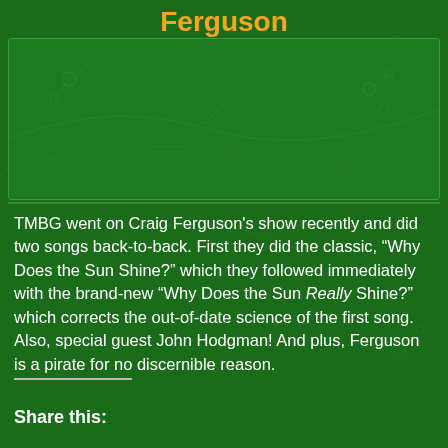Ferguson
[Figure (illustration): Green decorative background area with molecular/network pattern overlay, serving as image placeholder area for the Ferguson blog post]
TMBG went on Craig Ferguson's show recently and did two songs back-to-back. First they did the classic, “Why Does the Sun Shine?” which they followed immediately with the brand-new “Why Does the Sun Really Shine?” which corrects the out-of-date science of the first song. Also, special guest John Hodgman! And plus, Ferguson is a pirate for no discernible reason.
Share this: